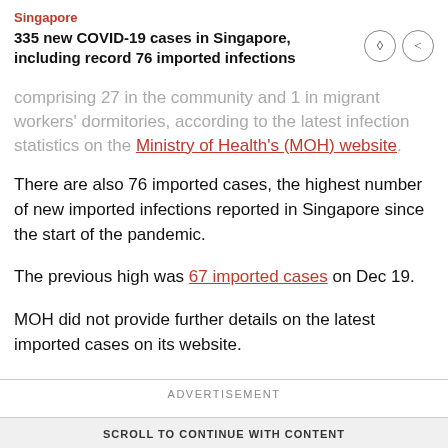Singapore
335 new COVID-19 cases in Singapore, including record 76 imported infections
comprising 27 in the community and 1 in migrant workers' dormitories, according to the latest infection statistics on the Ministry of Health's (MOH) website.
There are also 76 imported cases, the highest number of new imported infections reported in Singapore since the start of the pandemic.
The previous high was 67 imported cases on Dec 19.
MOH did not provide further details on the latest imported cases on its website.
ADVERTISEMENT
SCROLL TO CONTINUE WITH CONTENT